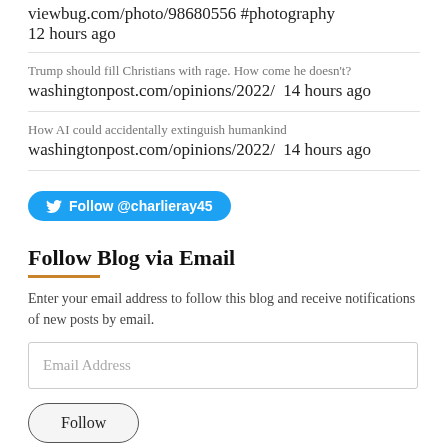viewbug.com/photo/98680556 #photography
12 hours ago
Trump should fill Christians with rage. How come he doesn't?
washingtonpost.com/opinions/2022/  14 hours ago
How AI could accidentally extinguish humankind
washingtonpost.com/opinions/2022/  14 hours ago
Follow @charlieray45
Follow Blog via Email
Enter your email address to follow this blog and receive notifications of new posts by email.
Email Address
Follow